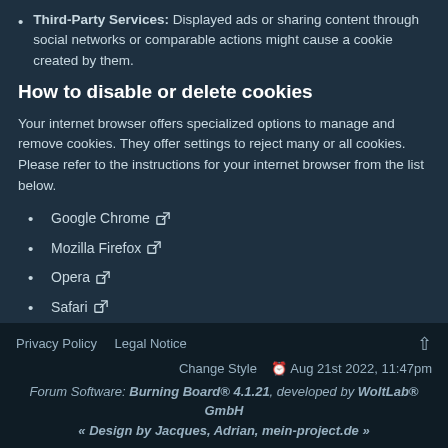Third-Party Services: Displayed ads or sharing content through social networks or comparable actions might cause a cookie created by them.
How to disable or delete cookies
Your internet browser offers specialized options to manage and remove cookies. They offer settings to reject many or all cookies. Please refer to the instructions for your internet browser from the list below.
Google Chrome [external link]
Mozilla Firefox [external link]
Opera [external link]
Safari [external link]
Windows Internet Explorer [external link]
Privacy Policy   Legal Notice   Change Style   Aug 21st 2022, 11:47pm   Forum Software: Burning Board® 4.1.21, developed by WoltLab® GmbH   « Design by Jacques, Adrian, mein-project.de »